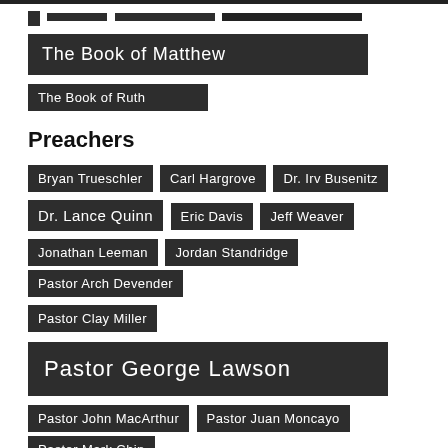The Book of Matthew
The Book of Ruth
Preachers
Bryan Trueschler
Carl Hargrove
Dr. Irv Busenitz
Dr. Lance Quinn
Eric Davis
Jeff Weaver
Jonathan Leeman
Jordan Standridge
Pastor Arch Devender
Pastor Clay Miller
Pastor George Lawson
Pastor John MacArthur
Pastor Juan Moncayo
Pastor Mark Chin